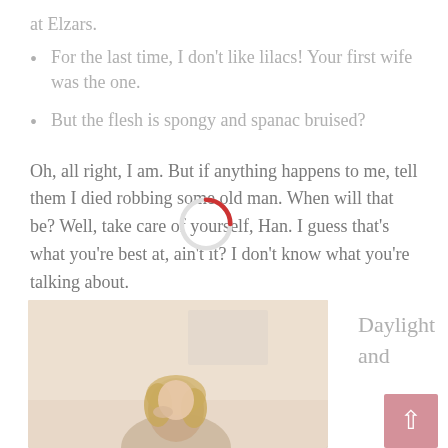at Elzars.
For the last time, I don't like lilacs! Your first wife was the one.
But the flesh is spongy and spanac bruised?
Oh, all right, I am. But if anything happens to me, tell them I died robbing some old man. When will that be? Well, take care of yourself, Han. I guess that's what you're best at, ain't it? I don't know what you're talking about.
[Figure (photo): Photo of a woman with blonde hair looking downward, soft warm tones]
Daylight and